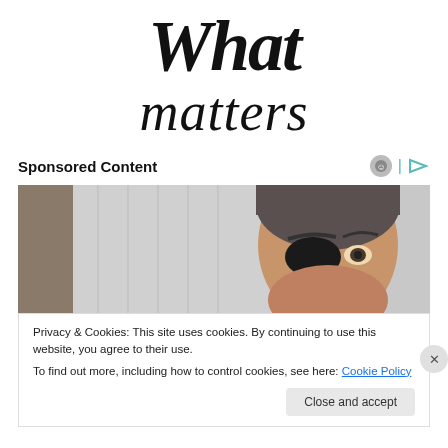What matters
Sponsored Content
[Figure (photo): Man wearing a black eye patch, partially cropped photo used as sponsored content thumbnail]
Privacy & Cookies: This site uses cookies. By continuing to use this website, you agree to their use.
To find out more, including how to control cookies, see here: Cookie Policy
Close and accept